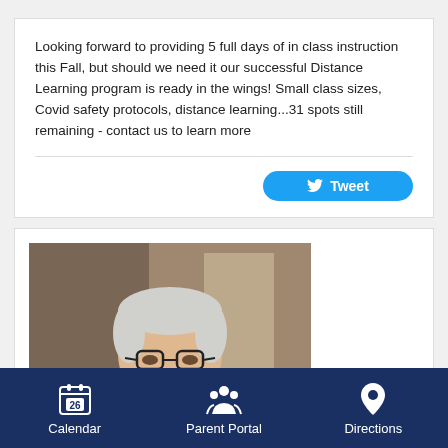Looking forward to providing 5 full days of in class instruction this Fall, but should we need it our successful Distance Learning program is ready in the wings! Small class sizes, Covid safety protocols, distance learning...31 spots still remaining - contact us to learn more
[Figure (photo): Photo of an older man with white hair, glasses, and a mustache wearing a light grey blazer, smiling. Background shows an indoor setting.]
Calendar   Parent Portal   Directions